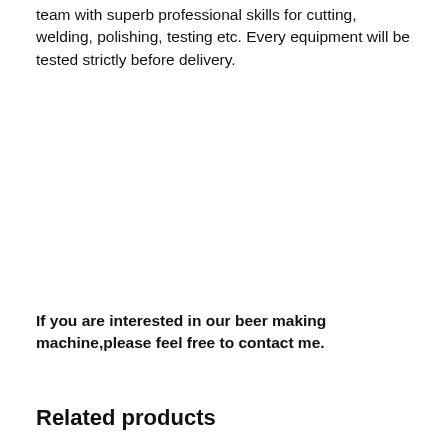team with superb professional skills for cutting, welding, polishing, testing etc. Every equipment will be tested strictly before delivery.
If you are interested in our beer making machine,please feel free to contact me.
Related products